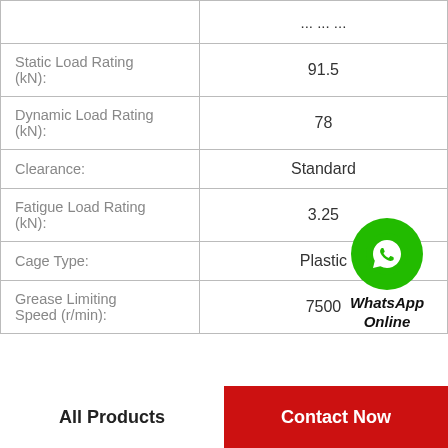| Property | Value |
| --- | --- |
|  | ... |
| Static Load Rating (kN): | 91.5 |
| Dynamic Load Rating (kN): | 78 |
| Clearance: | Standard |
| Fatigue Load Rating (kN): | 3.25 |
| Cage Type: | Plastic |
| Grease Limiting Speed (r/min): | 7500 |
[Figure (logo): WhatsApp Online button overlay with green phone icon circle and italic bold text 'WhatsApp Online']
All Products
Contact Now